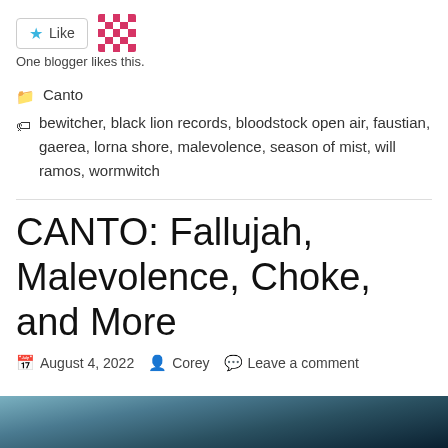[Figure (other): Like button with star icon and a blogger avatar mosaic icon]
One blogger likes this.
Canto
bewitcher, black lion records, bloodstock open air, faustian, gaerea, lorna shore, malevolence, season of mist, will ramos, wormwitch
CANTO: Fallujah, Malevolence, Choke, and More
August 4, 2022  Corey  Leave a comment
[Figure (photo): Partial photo showing a dark teal/blue landscape at the bottom of the page]